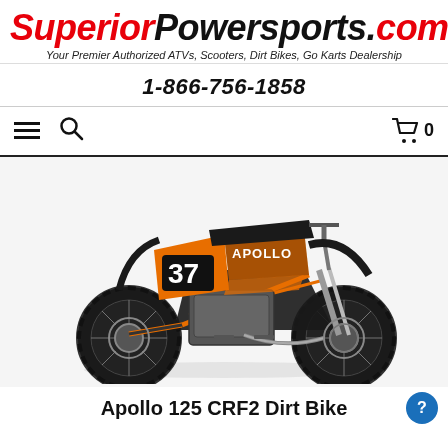[Figure (logo): SuperiorPowersports.com logo with red italic 'Superior' and black italic 'Powersports.com' text]
Your Premier Authorized ATVs, Scooters, Dirt Bikes, Go Karts Dealership
1-866-756-1858
[Figure (screenshot): Navigation bar with hamburger menu icon, search magnifying glass icon, and shopping cart icon with '0']
[Figure (photo): Apollo 125 CRF2 Dirt Bike in black and orange colorway, number 37 on side panel, shown on white background]
Apollo 125 CRF2 Dirt Bike